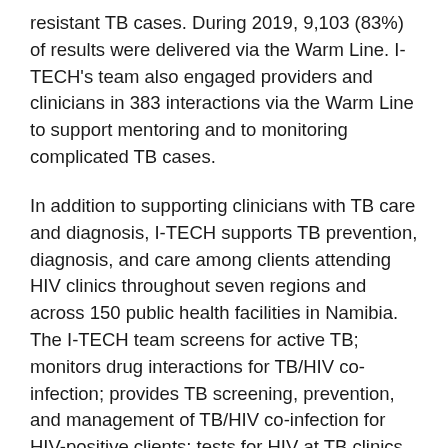resistant TB cases. During 2019, 9,103 (83%) of results were delivered via the Warm Line. I-TECH's team also engaged providers and clinicians in 383 interactions via the Warm Line to support mentoring and to monitoring complicated TB cases.
In addition to supporting clinicians with TB care and diagnosis, I-TECH supports TB prevention, diagnosis, and care among clients attending HIV clinics throughout seven regions and across 150 public health facilities in Namibia. The I-TECH team screens for active TB; monitors drug interactions for TB/HIV co-infection; provides TB screening, prevention, and management of TB/HIV co-infection for HIV-positive clients; tests for HIV at TB clinics for clients with unknown HIV status; and assesses eligibility, previous initiation, and completion of TB Preventive Therapy (TPT) to